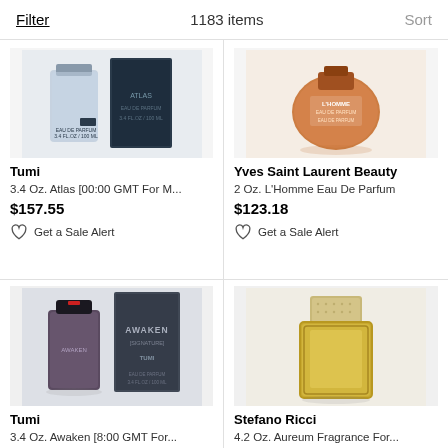Filter | 1183 items | Sort
[Figure (photo): Tumi Atlas perfume bottle and box]
Tumi
3.4 Oz. Atlas [00:00 GMT For M...
$157.55
Get a Sale Alert
[Figure (photo): Yves Saint Laurent Beauty L'Homme Eau De Parfum bottle]
Yves Saint Laurent Beauty
2 Oz. L'Homme Eau De Parfum
$123.18
Get a Sale Alert
[Figure (photo): Tumi Awaken perfume bottle and box]
Tumi
3.4 Oz. Awaken [8:00 GMT For...
[Figure (photo): Stefano Ricci Aureum Fragrance bottle]
Stefano Ricci
4.2 Oz. Aureum Fragrance For...